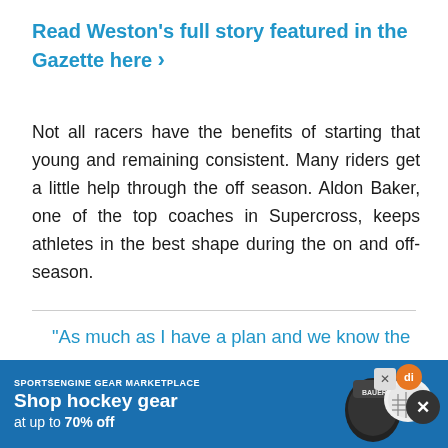Read Weston's full story featured in the Gazette here ›
Not all racers have the benefits of starting that young and remaining consistent. Many riders get a little help through the off season. Aldon Baker, one of the top coaches in Supercross, keeps athletes in the best shape during the on and off-season.
"As much as I have a plan and we know the bases that we have to cover with the riding, with the cardio, with the strength, even to the
[Figure (other): Advertisement banner for SportsEngine Gear Marketplace showing hockey gear with a Bauer goalie mask/gloves image. Text reads: SPORTSENGINE GEAR MARKETPLACE, Shop hockey gear at up to 70% off]